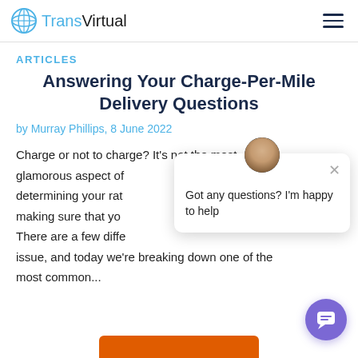TransVirtual
ARTICLES
Answering Your Charge-Per-Mile Delivery Questions
by Murray Phillips, 8 June 2022
Charge or not to charge? It's not the most glamorous aspect of determining your rate, making sure that you... There are a few diffe... issue, and today we're breaking down one of the most common...